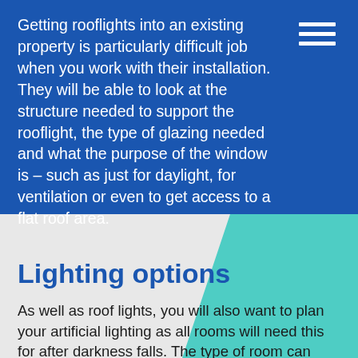Getting rooflights into an existing property is particularly difficult job when you work with their installation. They will be able to look at the structure needed to support the rooflight, the type of glazing needed and what the purpose of the window is – such as just for daylight, for ventilation or even to get access to a flat roof area.
Lighting options
As well as roof lights, you will also want to plan your artificial lighting as all rooms will need this for after darkness falls. The type of room can have an impact on